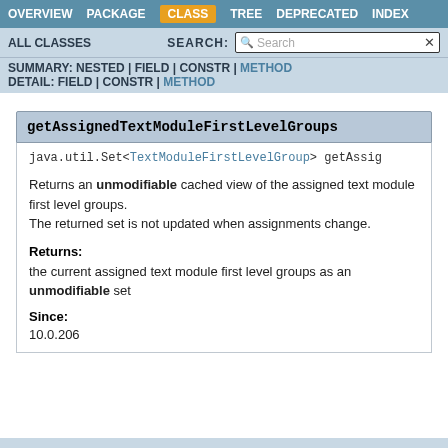OVERVIEW  PACKAGE  CLASS  TREE  DEPRECATED  INDEX
ALL CLASSES  SEARCH:
SUMMARY: NESTED | FIELD | CONSTR | METHOD
DETAIL: FIELD | CONSTR | METHOD
getAssignedTextModuleFirstLevelGroups
java.util.Set<TextModuleFirstLevelGroup> getAssig
Returns an unmodifiable cached view of the assigned text module first level groups. The returned set is not updated when assignments change.
Returns:
the current assigned text module first level groups as an unmodifiable set
Since:
10.0.206